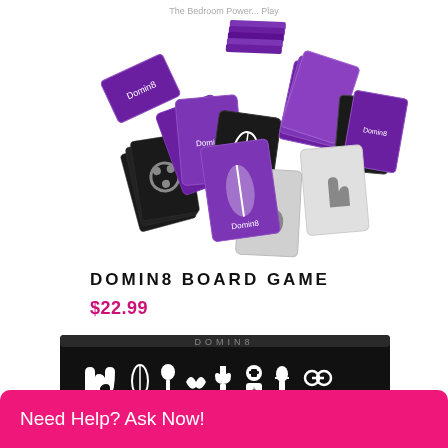[Figure (photo): Spread of Domin8 board game cards on white background — purple and black cards with white icons scattered]
DOMIN8 BOARD GAME
$22.99
[Figure (photo): Domin8 board game black box with white icons of various symbols on it]
Need Help? Ask Now!